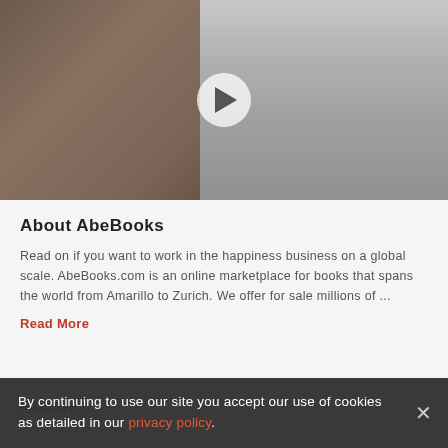[Figure (photo): Video thumbnail showing a woman with dark hair smiling in a business casual outfit inside an office environment, with a play button overlay in the center]
About AbeBooks
Read on if you want to work in the happiness business on a global scale. AbeBooks.com is an online marketplace for books that spans the world from Amarillo to Zurich. We offer for sale millions of ...
Read More
INDUSTRY:
By continuing to use our site you accept our use of cookies as detailed in our privacy policy.